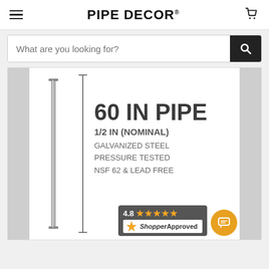PIPE DECOR
What are you looking for?
[Figure (photo): Product image of a long galvanized steel pipe (60 inches) shown vertically beside a dimension line, with product specifications text: 60 IN PIPE, 1/2 IN (NOMINAL), GALVANIZED STEEL PRESSURE TESTED, NSF 62 & LEAD FREE]
4.8 ★★★★★ ShopperApproved